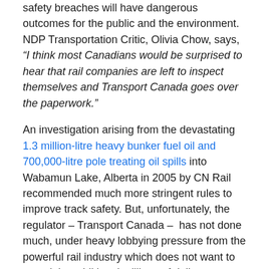safety breaches will have dangerous outcomes for the public and the environment. NDP Transportation Critic, Olivia Chow, says, “I think most Canadians would be surprised to hear that rail companies are left to inspect themselves and Transport Canada goes over the paperwork.”
An investigation arising from the devastating 1.3 million-litre heavy bunker fuel oil and 700,000-litre pole treating oil spills into Wabamun Lake, Alberta in 2005 by CN Rail recommended much more stringent rules to improve track safety. But, unfortunately, the regulator – Transport Canada – has not done much, under heavy lobbying pressure from the powerful rail industry which does not want to spend the additional millions of dollars necessary to make the industry more safe.